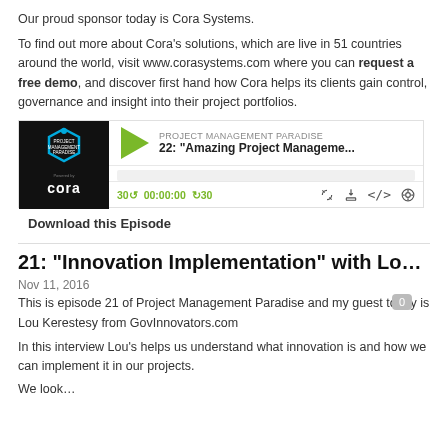Our proud sponsor today is Cora Systems.
To find out more about Cora’s solutions, which are live in 51 countries around the world, visit www.corasystems.com where you can request a free demo, and discover first hand how Cora helps its clients gain control, governance and insight into their project portfolios.
[Figure (screenshot): Podcast player widget for Project Management Paradise episode 22: Amazing Project Manageme... with Cora logo thumbnail, play button, progress bar, and media controls showing 30s skip, 00:00:00 timestamp, and icons.]
Download this Episode
21: "Innovation Implementation" with Lou K...
Nov 11, 2016
This is episode 21 of Project Management Paradise and my guest today is Lou Kerestesy from GovInnovators.com
In this interview Lou’s helps us understand what innovation is and how we can implement it in our projects.
We look…